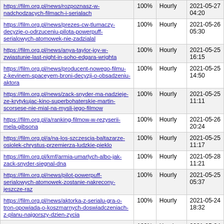| URL | Priority | Change Frequency | Last Modified |
| --- | --- | --- | --- |
| https://film.org.pl/news/rozpoznasz-w-nadchodzacych-filmach-i-serialach | 100% | Hourly | 2021-05-27 04:20 |
| https://film.org.pl/news/prezes-cw-tlumaczy-decyzje-o-odrzuceniu-pilota-powerpuff-serialowych-atomowek-nie-zadzialal | 100% | Hourly | 2021-05-26 05:30 |
| https://film.org.pl/news/anya-taylor-joy-w-zwiastunie-last-night-in-soho-edgara-wrighta | 100% | Hourly | 2021-05-25 16:15 |
| https://film.org.pl/news/producent-nowego-filmu-z-kevinem-spaceyem-broni-decyzji-o-obsadzeniu-aktora | 100% | Hourly | 2021-05-25 14:50 |
| https://film.org.pl/news/zack-snyder-ma-nadzieje-ze-krytykujac-kino-superbohaterskie-martin-scorsese-nie-mial-na-mysli-jego-filmow | 100% | Hourly | 2021-05-25 11:11 |
| https://film.org.pl/a/ranking-filmow-w-rezyserii-mela-gibsona | 100% | Hourly | 2021-05-26 20:24 |
| https://film.org.pl/a/na-los-szczescia-baltazarze-osiolek-chrystus-przemierza-ludzkie-pieklo | 100% | Hourly | 2021-05-25 11:17 |
| https://film.org.pl/kmf/armia-umarlych-albo-jak-zack-snyder-siegnal-dna | 100% | Hourly | 2021-05-28 11:21 |
| https://film.org.pl/news/pilot-powerpuff-serialowych-atomowek-zostanie-nakrecony-jeszcze-raz | 100% | Hourly | 2021-05-25 05:37 |
| https://film.org.pl/news/aktorka-z-serialu-gra-o-tron-opowiada-o-koszmarnych-doswiadczeniach-z-planu-najgorszy-dzien-zycia | 100% | Hourly | 2021-05-24 18:32 |
| https://film.org.pl/news/timothee-chalamet-obsadzony-jako-mlody-willy-wonka-w-prequelu-charliego-i-fabryki-czekolady | 100% | Hourly | 2021-05-24 16:20 |
| https://film.org.pl/news/eternals-marvel- | 100% | Hourly | 2021-05-24 |